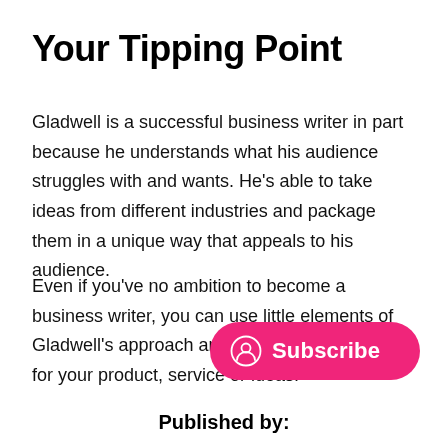Your Tipping Point
Gladwell is a successful business writer in part because he understands what his audience struggles with and wants. He's able to take ideas from different industries and package them in a unique way that appeals to his audience.
Even if you've no ambition to become a business writer, you can use little elements of Gladwell's approach and make a big difference for your product, service or ideas.
[Figure (other): Pink pill-shaped Subscribe button with a circular user icon on the left and the word Subscribe in white text]
Published by: